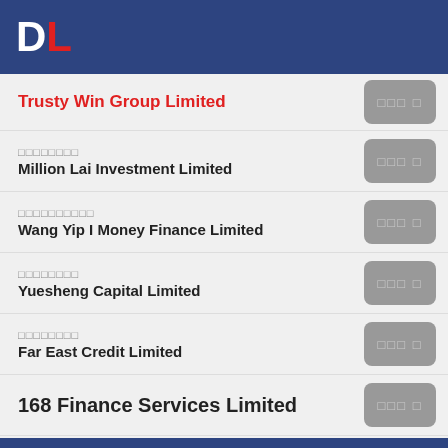DL
Trusty Win Group Limited
□□□□□□□□ Million Lai Investment Limited
□□□□□□□□□□ Wang Yip I Money Finance Limited
□□□□□□□□ Yuesheng Capital Limited
□□□□□□□□ Far East Credit Limited
168 Finance Services Limited
□□□□□□□□□□ Yellow River Consultants Services Limited
□□□□□□ Yee Tin Limited